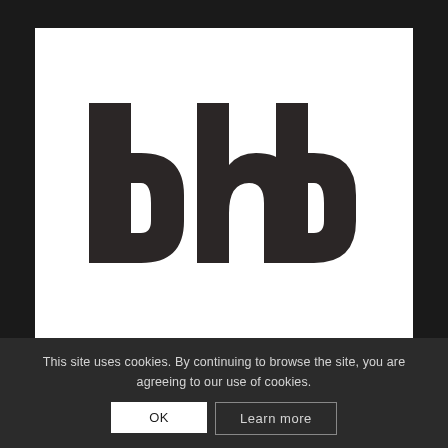[Figure (logo): dhb logo — lowercase letters 'd', 'h', 'b' in dark charcoal/black heavy rounded sans-serif typeface on white background]
This site uses cookies. By continuing to browse the site, you are agreeing to our use of cookies.
OK
Learn more